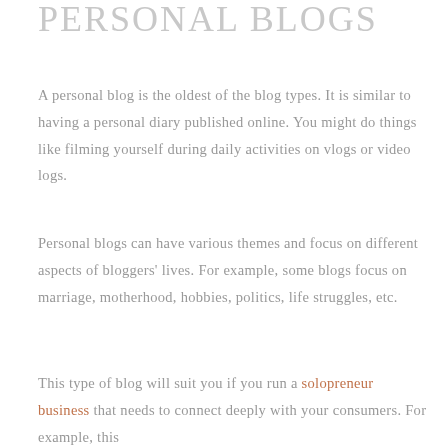PERSONAL BLOGS
A personal blog is the oldest of the blog types. It is similar to having a personal diary published online. You might do things like filming yourself during daily activities on vlogs or video logs.
Personal blogs can have various themes and focus on different aspects of bloggers' lives. For example, some blogs focus on marriage, motherhood, hobbies, politics, life struggles, etc.
This type of blog will suit you if you run a solopreneur business that needs to connect deeply with your consumers. For example, this